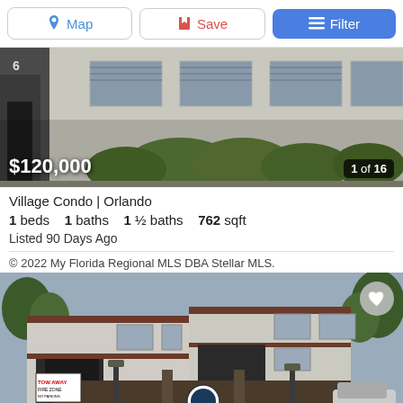Map | Save | Filter
[Figure (photo): Exterior photo of Village Condo building in Orlando, showing multi-story apartment/condo building with bushes in front. Price overlay $120,000 and photo count 1 of 16.]
Village Condo | Orlando
1 beds  1 baths  1 ½ baths  762 sqft
Listed 90 Days Ago
© 2022 My Florida Regional MLS DBA Stellar MLS.
[Figure (photo): Exterior photo of another condo/apartment building with brown trim, lamp posts, tow-away zone sign, and a gate with a logo. Heart/favorite button in top right corner.]